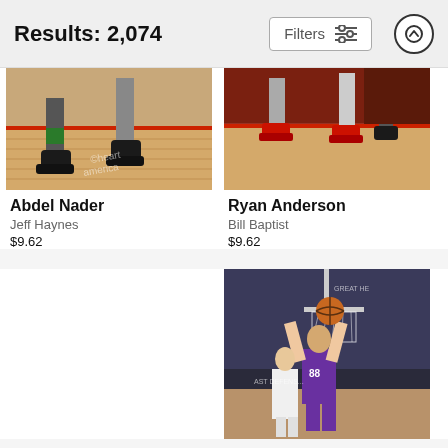Results: 2,074
Filters
[Figure (photo): Basketball court floor-level photo showing player feet and shoes — Abdel Nader photo by Jeff Haynes]
Abdel Nader
Jeff Haynes
$9.62
[Figure (photo): Basketball court photo showing players legs in red shoes jumping — Ryan Anderson photo by Bill Baptist]
Ryan Anderson
Bill Baptist
$9.62
[Figure (photo): Basketball player in purple Sacramento Kings jersey number 88 going up for a dunk near the basket, with a defender in white below]